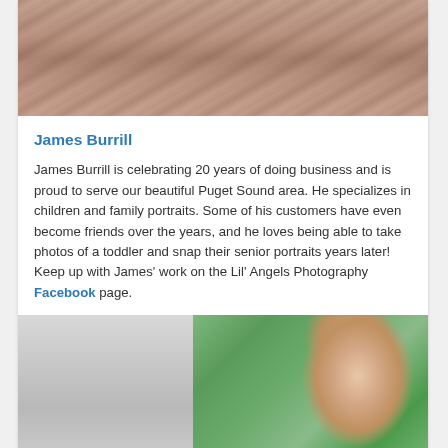[Figure (photo): Top portion of a photograph showing a textured reddish-brown surface, partially cropped at the top of the page]
James Burrill
James Burrill is celebrating 20 years of doing business and is proud to serve our beautiful Puget Sound area. He specializes in children and family portraits. Some of his customers have even become friends over the years, and he loves being able to take photos of a toddler and snap their senior portraits years later! Keep up with James' work on the Lil' Angels Photography Facebook page.
[Figure (photo): Portrait photo of a young woman with light brown hair, against a blurred green background on the right side and a grey textured surface on the left side, cropped at the bottom of the page]